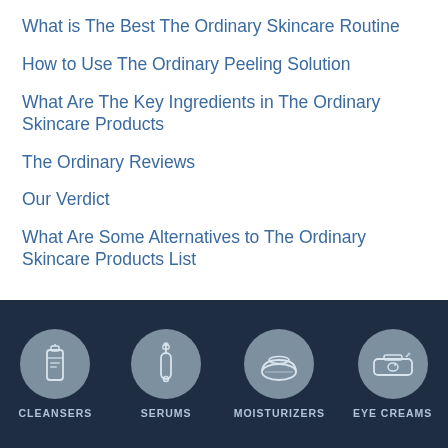What is The Best The Ordinary Skincare Routine
How to Use The Ordinary Peeling Solution
What Are The Key Ingredients in The Ordinary Skincare Products
The Ordinary Reviews
Our Verdict
What Are Some Alternatives to The Ordinary Skincare Products List
We review hundreds of products and brands here at The Derm Review, and we must say that we haven't seen a
[Figure (infographic): Dark navy footer navigation bar with four circular grey icons and white labels: CLEANSERS (pump bottle icon), SERUMS (dropper bottle icon), MOISTURIZERS (cream jar icon), EYE CREAMS (eye cream container icon)]